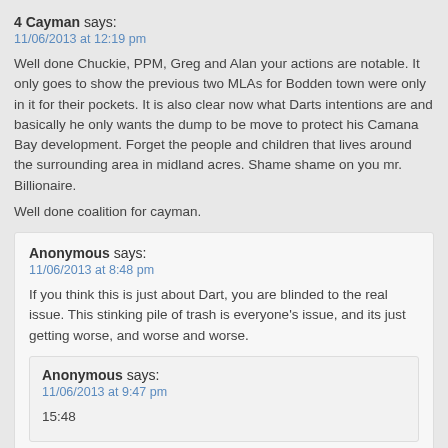4 Cayman says:
11/06/2013 at 12:19 pm
Well done Chuckie, PPM, Greg and Alan your actions are notable. It only goes to show the previous two MLAs for Bodden town were only in it for their pockets. It is also clear now what Darts intentions are and basically he only wants the dump to be move to protect his Camana Bay development. Forget the people and children that lives around the surrounding area in midland acres. Shame shame on you mr. Billionaire.
Well done coalition for cayman.
Anonymous says:
11/06/2013 at 8:48 pm
If you think this is just about Dart, you are blinded to the real issue. This stinking pile of trash is everyone's issue, and its just getting worse, and worse and worse.
Anonymous says:
11/06/2013 at 9:47 pm
15:48